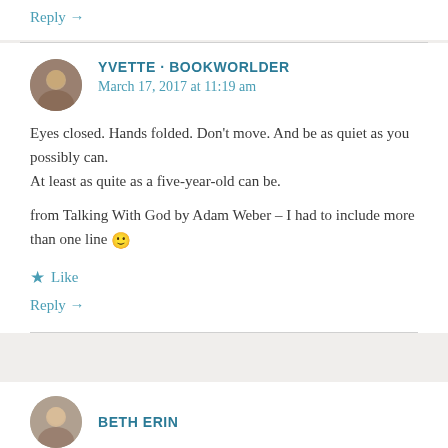Reply →
YVETTE - BOOKWORLDER
March 17, 2017 at 11:19 am
Eyes closed. Hands folded. Don't move. And be as quiet as you possibly can.
At least as quite as a five-year-old can be.
from Talking With God by Adam Weber – I had to include more than one line 🙂
★ Like
Reply →
BETH ERIN